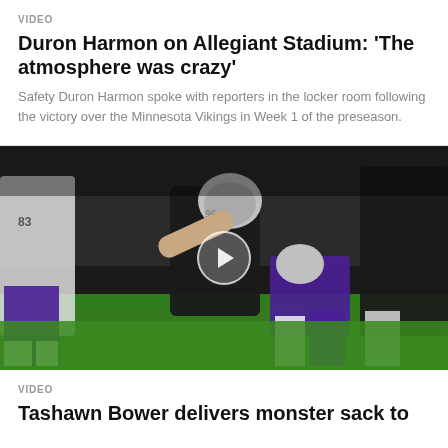VIDEO
Duron Harmon on Allegiant Stadium: 'The atmosphere was crazy'
Safety Duron Harmon spoke with reporters in the locker room following the victory over the Minnesota Vikings in Week 1 of the preseason.
[Figure (photo): Football action photo showing a Raiders player (#96) tackling a Minnesota Vikings player on the field at Allegiant Stadium, with a play button overlay indicating this is a video thumbnail.]
VIDEO
Tashawn Bower delivers monster sack to